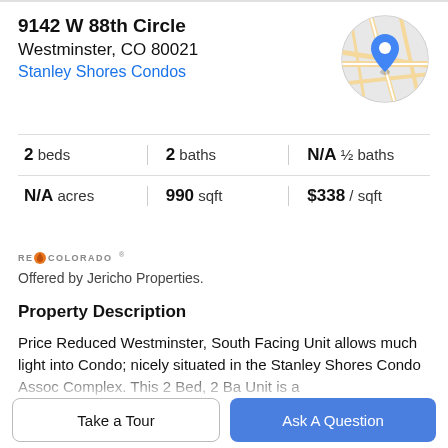9142 W 88th Circle
Westminster, CO 80021
Stanley Shores Condos
[Figure (map): Circular map thumbnail with a blue location pin marker in the center, showing street map background.]
| 2 beds | 2 baths | N/A ½ baths |
| N/A acres | 990 sqft | $338 / sqft |
[Figure (logo): RE/Colorado logo with orange flame icon]
Offered by Jericho Properties.
Property Description
Price Reduced Westminster, South Facing Unit allows much light into Condo; nicely situated in the Stanley Shores Condo Assoc Complex. This 2 Bed, 2 Ba Unit is a nice starter or downsize unit. Great area off the dinin…